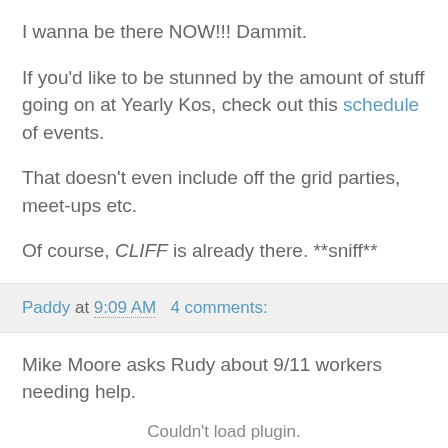I wanna be there NOW!!! Dammit.
If you'd like to be stunned by the amount of stuff going on at Yearly Kos, check out this schedule of events.
That doesn't even include off the grid parties, meet-ups etc.
Of course, CLIFF is already there. **sniff**
Paddy at 9:09 AM   4 comments:
Mike Moore asks Rudy about 9/11 workers needing help.
Couldn't load plugin.